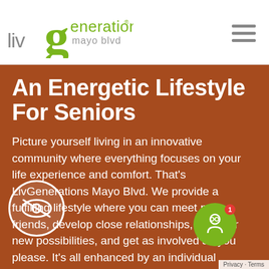[Figure (logo): LivGenerations Mayo Blvd logo — stylized green lowercase 'g' with 'enerations' and 'mayo blvd' text, preceded by grey 'liv' text]
An Energetic Lifestyle For Seniors
Picture yourself living in an innovative community where everything focuses on your life experience and comfort. That's LivGenerations Mayo Blvd. We provide a fulfilling lifestyle where you can meet new friends, develop close relationships, discover new possibilities, and get as involved as you please. It's all enhanced by an individual approach that frees you from household maintenance and chores while delighting you with fun activities and fine cuisine. Whether you're seeking independent living, assisted living, or memory care, LivGenerations Mayo Blvd offers everything you need.